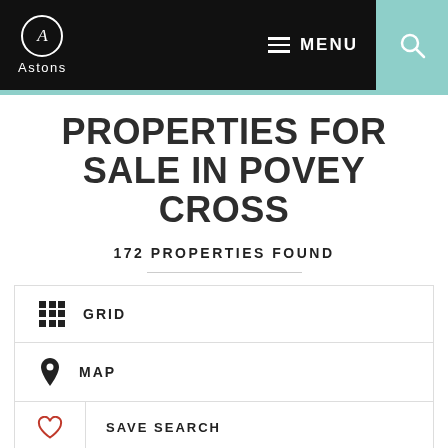[Figure (logo): Astons estate agency logo — circle with letter A, text 'Astons' below, on black header background]
MENU  [search icon]
PROPERTIES FOR SALE IN POVEY CROSS
172 PROPERTIES FOUND
GRID
MAP
SAVE SEARCH
SORT BY:  PRICE HIGH TO LOW